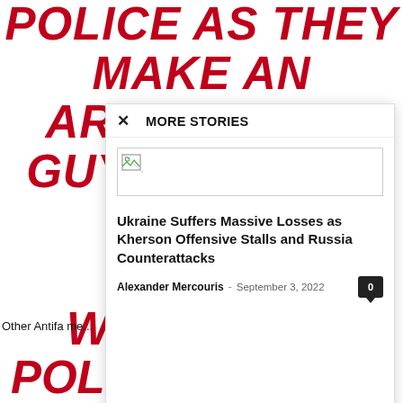POLICE AS THEY MAKE AN ARREST. THE GUY WHO WAS THREA... PIC.TV...
(@JUL...
MORE STORIES
[Figure (screenshot): Broken image placeholder in modal dialog]
Ukraine Suffers Massive Losses as Kherson Offensive Stalls and Russia Counterattacks
Alexander Mercouris - September 3, 2022  0
Other Antifa me...
WHY DIDN'T POLICE SET UP...